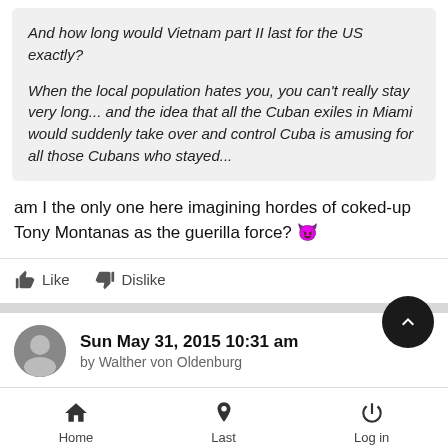And how long would Vietnam part II last for the US exactly?

When the local population hates you, you can't really stay very long... and the idea that all the Cuban exiles in Miami would suddenly take over and control Cuba is amusing for all those Cubans who stayed...
am I the only one here imagining hordes of coked-up Tony Montanas as the guerilla force? 😈
Like   Dislike
Sun May 31, 2015 10:31 am
by Walther von Oldenburg
Cubans don't hate Americans and America - and it can be easily